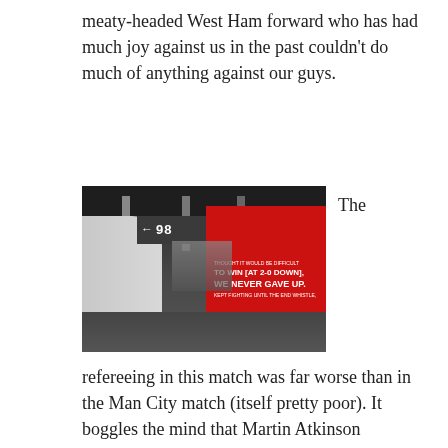meaty-headed West Ham forward who has had much joy against us in the past couldn't do much of anything against our guys.
[Figure (photo): Interior corridor of a football stadium with a red wall mural reading 'TO WIN [AT 2-0 DOWN], WE NEVER GAVE UP. KEPT FIGHTING UNTIL THE END WHISTLE,' and a sign above showing '98' with a left arrow.]
The refereeing in this match was far worse than in the Man City match (itself pretty poor). It boggles the mind that Martin Atkinson continues to get Arsenal matches. Three obvious penalty calls waved away.